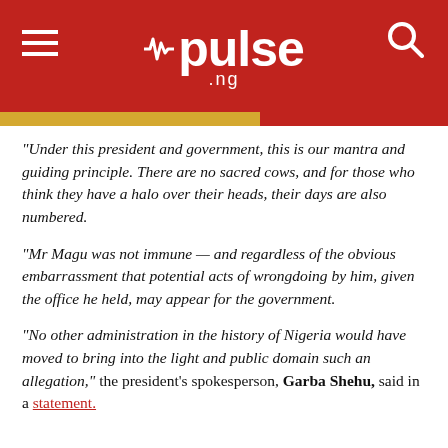pulse .ng
“Under this president and government, this is our mantra and guiding principle. There are no sacred cows, and for those who think they have a halo over their heads, their days are also numbered.
“Mr Magu was not immune — and regardless of the obvious embarrassment that potential acts of wrongdoing by him, given the office he held, may appear for the government.
“No other administration in the history of Nigeria would have moved to bring into the light and public domain such an allegation,” the president’s spokesperson, Garba Shehu, said in a statement.